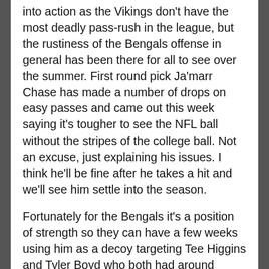into action as the Vikings don't have the most deadly pass-rush in the league, but the rustiness of the Bengals offense in general has been there for all to see over the summer. First round pick Ja'marr Chase has made a number of drops on easy passes and came out this week saying it's tougher to see the NFL ball without the stripes of the college ball. Not an excuse, just explaining his issues. I think he'll be fine after he takes a hit and we'll see him settle into the season.
Fortunately for the Bengals it's a position of strength so they can have a few weeks using him as a decoy targeting Tee Higgins and Tyler Boyd who both had around 1,000 yards last year. Higgins in particular has had a good camp and came on strong through the season last year, he's got the potential to be a star in this league. Then you've